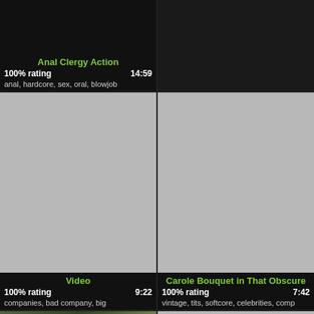Anal Clergy Action
100% rating   14:59
anal, hardcore, sex, oral, blowjob
[Figure (photo): Gray placeholder thumbnail for video]
Video
100% rating   9:22
companies, bad company, big
[Figure (photo): Gray placeholder thumbnail for video]
Carole Bouquet in That Obscure
100% rating   7:42
vintage, tits, softcore, celebrities, comp
[Figure (photo): Outdoor photo showing two people]
[Figure (photo): Gray placeholder thumbnail for video]